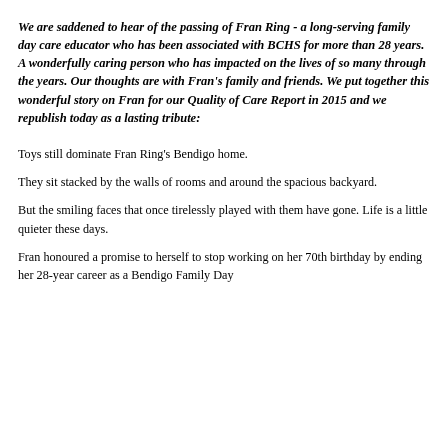We are saddened to hear of the passing of Fran Ring - a long-serving family day care educator who has been associated with BCHS for more than 28 years. A wonderfully caring person who has impacted on the lives of so many through the years. Our thoughts are with Fran's family and friends. We put together this wonderful story on Fran for our Quality of Care Report in 2015 and we republish today as a lasting tribute:
Toys still dominate Fran Ring's Bendigo home.
They sit stacked by the walls of rooms and around the spacious backyard.
But the smiling faces that once tirelessly played with them have gone. Life is a little quieter these days.
Fran honoured a promise to herself to stop working on her 70th birthday by ending her 28-year career as a Bendigo Family Day